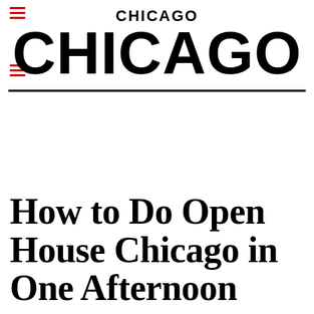CHICAGO / CHICAGO
How to Do Open House Chicago in One Afternoon
Because nobody has time to view 250-plus sites
BY TAYLOR MOORE
OCTOBER 17, 2019, 11:13 AM
[Figure (other): Social sharing icons: Facebook, Twitter, Email, Link, Comment]